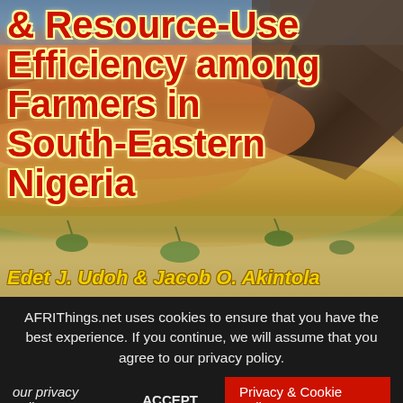[Figure (illustration): Book cover showing a desert/arid landscape with orange-red sand dunes, rocky terrain, sparse vegetation, and mountains in the background under a gray-blue sky. Bold red title text overlaid on left portion.]
& Resource-Use Efficiency among Farmers in South-Eastern Nigeria
Edet J. Udoh & Jacob O. Akintola
AFRIThings.net uses cookies to ensure that you have the best experience. If you continue, we will assume that you agree to our privacy policy.
ACCEPT
Privacy & Cookie Policy